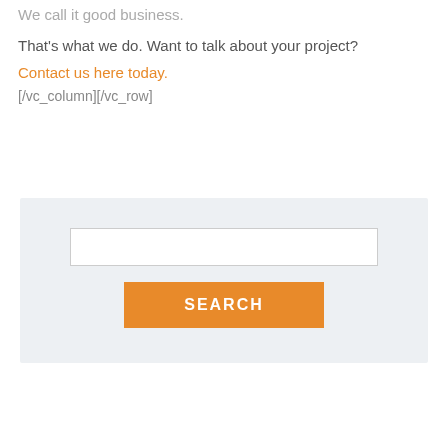We call it good business.
That's what we do. Want to talk about your project?
Contact us here today.
[/vc_column][/vc_row]
[Figure (screenshot): Search box with white input field and orange SEARCH button on a light gray background]